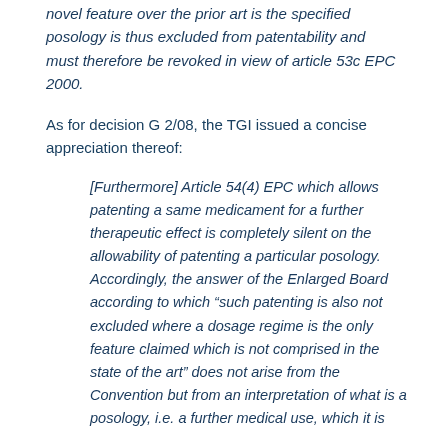novel feature over the prior art is the specified posology is thus excluded from patentability and must therefore be revoked in view of article 53c EPC 2000.
As for decision G 2/08, the TGI issued a concise appreciation thereof:
[Furthermore] Article 54(4) EPC which allows patenting a same medicament for a further therapeutic effect is completely silent on the allowability of patenting a particular posology. Accordingly, the answer of the Enlarged Board according to which “such patenting is also not excluded where a dosage regime is the only feature claimed which is not comprised in the state of the art” does not arise from the Convention but from an interpretation of what is a posology, i.e. a further medical use, which it is